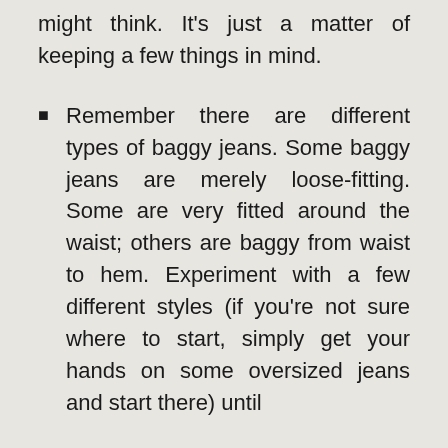might think. It's just a matter of keeping a few things in mind.
Remember there are different types of baggy jeans. Some baggy jeans are merely loose-fitting. Some are very fitted around the waist; others are baggy from waist to hem. Experiment with a few different styles (if you're not sure where to start, simply get your hands on some oversized jeans and start there) until